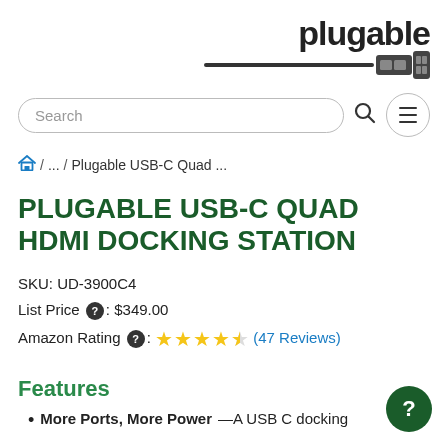[Figure (logo): Plugable brand logo with text 'plugable' and a USB icon graphic below]
[Figure (screenshot): Search bar with rounded border, magnifying glass icon, and hamburger menu button]
🏠 / ... / Plugable USB-C Quad ...
PLUGABLE USB-C QUAD HDMI DOCKING STATION
SKU: UD-3900C4
List Price ❓: $349.00
Amazon Rating ❓: ★★★★☆ (47 Reviews)
Features
More Ports, More Power—A USB C docking